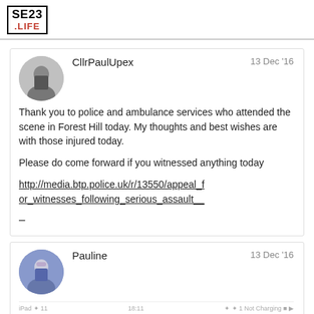[Figure (logo): SE23 .LIFE logo in black border box with red .LIFE text]
CllrPaulUpex
13 Dec '16
Thank you to police and ambulance services who attended the scene in Forest Hill today. My thoughts and best wishes are with those injured today.

Please do come forward if you witnessed anything today

http://media.btp.police.uk/r/13550/appeal_for_witnesses_following_serious_assault__

–
Pauline
13 Dec '16